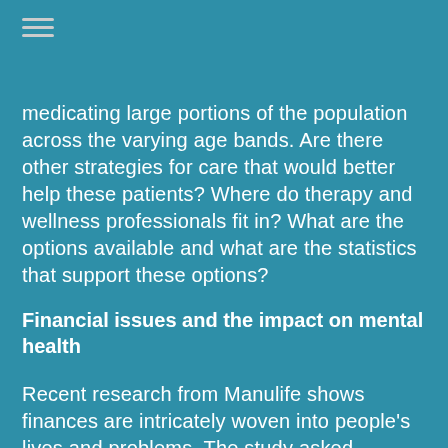medicating large portions of the population across the varying age bands. Are there other strategies for care that would better help these patients? Where do therapy and wellness professionals fit in? What are the options available and what are the statistics that support these options?
Financial issues and the impact on mental health
Recent research from Manulife shows finances are intricately woven into people's lives and problems. The study asked professional personal counsellors their opinion about the impact finances have on